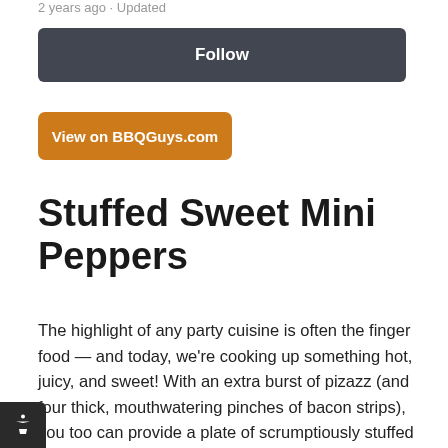2 years ago · Updated
Follow
View on BBQGuys.com
Stuffed Sweet Mini Peppers
The highlight of any party cuisine is often the finger food — and today, we're cooking up something hot, juicy, and sweet! With an extra burst of pizazz (and four thick, mouthwatering pinches of bacon strips), you too can provide a plate of scrumptiously stuffed sweet mini peppers for any get-together, from a homegating party to the biggest game of the